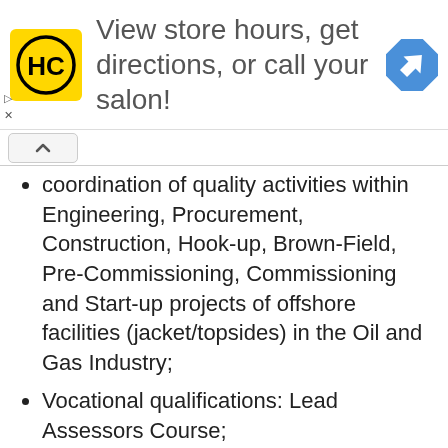[Figure (logo): HC logo yellow square with HC letters and direction navigation icon advertisement banner reading 'View store hours, get directions, or call your salon!']
coordination of quality activities within Engineering, Procurement, Construction, Hook-up, Brown-Field, Pre-Commissioning, Commissioning and Start-up projects of offshore facilities (jacket/topsides) in the Oil and Gas Industry;
Vocational qualifications: Lead Assessors Course;
The ability to communicate well at all levels within the Company and to demonstrate leadership. In addition, the candidate must possess very good planning, presentation, negotiations